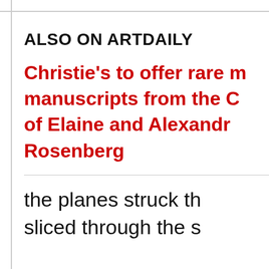ALSO ON ARTDAILY
Christie's to offer rare manuscripts from the C of Elaine and Alexandra Rosenberg
the planes struck th sliced through the s